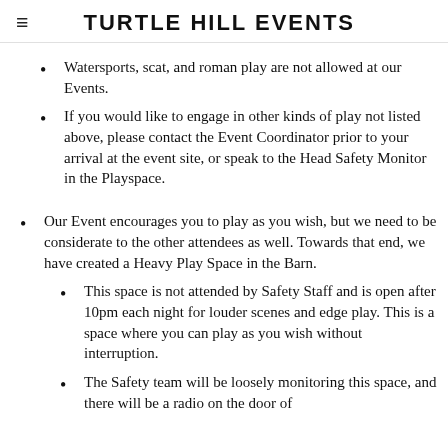TURTLE HILL EVENTS
Watersports, scat, and roman play are not allowed at our Events.
If you would like to engage in other kinds of play not listed above, please contact the Event Coordinator prior to your arrival at the event site, or speak to the Head Safety Monitor in the Playspace.
Our Event encourages you to play as you wish, but we need to be considerate to the other attendees as well. Towards that end, we have created a Heavy Play Space in the Barn.
This space is not attended by Safety Staff and is open after 10pm each night for louder scenes and edge play. This is a space where you can play as you wish without interruption.
The Safety team will be loosely monitoring this space, and there will be a radio on the door of